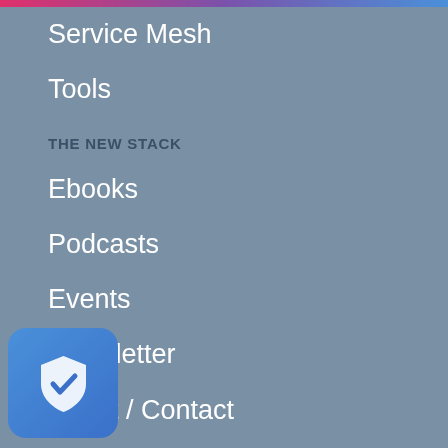Service Mesh
Tools
THE NEW STACK
Ebooks
Podcasts
Events
Newsletter
About / Contact
Sponsors
Sponsorship
Disclosures
...ributions
[Figure (illustration): Shield icon with checkmark in rounded square, blue gradient, positioned bottom left corner]